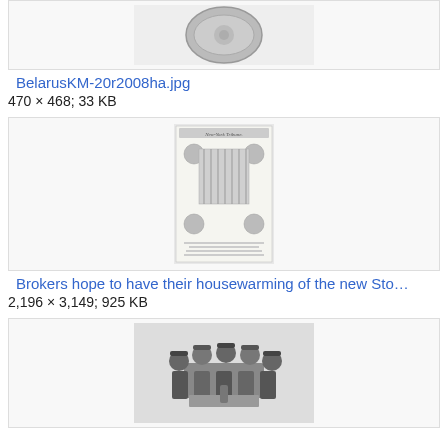[Figure (photo): A coin, partially visible at top of page (BelarusKM-20r2008ha.jpg)]
BelarusKM-20r2008ha.jpg
470 × 468; 33 KB
[Figure (photo): A New York Tribune newspaper front page featuring portraits and an image of a neoclassical building (stock exchange)]
Brokers hope to have their housewarming of the new Sto…
2,196 × 3,149; 925 KB
[Figure (photo): A black and white photograph of several people seated around a table outdoors]